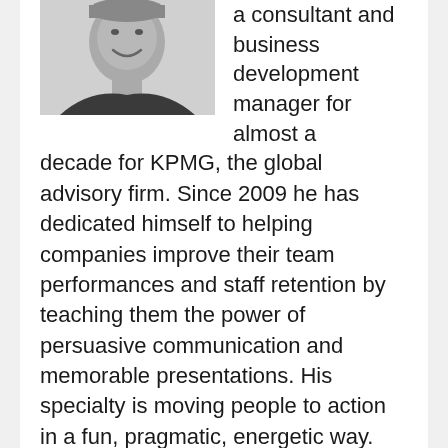[Figure (photo): Black and white portrait photo of a smiling man]
a consultant and business development manager for almost a decade for KPMG, the global advisory firm. Since 2009 he has dedicated himself to helping companies improve their team performances and staff retention by teaching them the power of persuasive communication and memorable presentations. His specialty is moving people to action in a fun, pragmatic, energetic way. Florian is the co-creator of the world's first public speaking board game RHETORIC. A collaborator of IESE Business School Barcelona and author of three books, Florian offers transformational communication